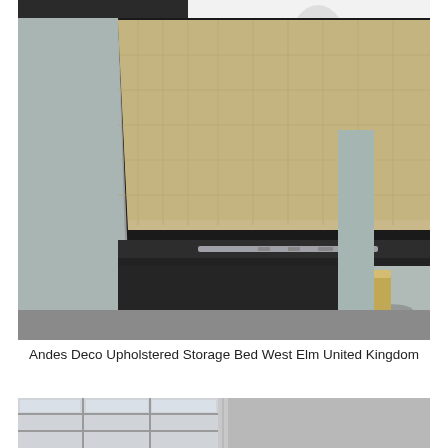[Figure (photo): Close-up photograph of a light grey upholstered storage bed with an open drawer revealing a chunky knit blanket stored inside. The drawer slides on metal rails visible beneath. The bed has slim metallic/gold legs and a white mattress is visible on top.]
Andes Deco Upholstered Storage Bed West Elm United Kingdom
[Figure (photo): Partial view of another bedroom scene, cropped at the bottom of the page, showing what appears to be a bed frame near a window with grid panes.]